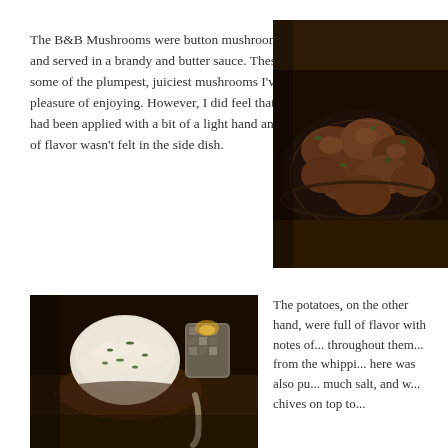The B&B Mushrooms were button mushrooms sauteed and served in a brandy and butter sauce. These were some of the plumpest, juiciest mushrooms I've had the pleasure of enjoying. However, I did feel that the brandy had been applied with a bit of a light hand and it's punch of flavor wasn't felt in the side dish.
[Figure (photo): Close-up photo of sautéed button mushrooms in a dark sauce served in a dark bowl, dimly lit restaurant setting]
[Figure (photo): Close-up photo of whipped mashed potatoes in a bowl with chives on top, with a candle in a mosaic holder in the background, dimly lit restaurant setting]
The potatoes, on the other hand, were full of flavor with notes of... throughout them... from the whippi... here was also pu... much salt, and w... chives on top to...